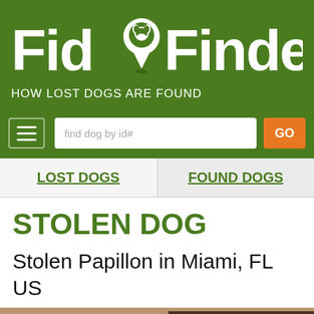[Figure (logo): FidoFinder logo with dog location pin icon on green background, tagline: HOW LOST DOGS ARE FOUND]
find dog by id#
GO
LOST DOGS
FOUND DOGS
STOLEN DOG
Stolen Papillon in Miami, FL US
[Figure (photo): Partial photo of a dog in an indoor setting]